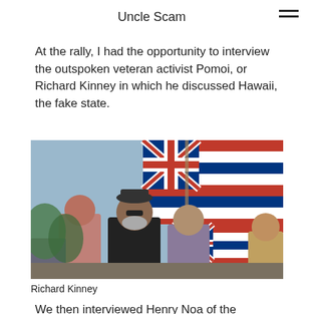Uncle Scam
At the rally, I had the opportunity to interview the outspoken veteran activist Pomoi, or Richard Kinney in which he discussed Hawaii, the fake state.
[Figure (photo): Photo of Richard Kinney at a rally holding Hawaiian Kingdom flags, with several people around him and more flags in the background.]
Richard Kinney
We then interviewed Henry Noa of the Reorganized Hawaiian Kingdom, where